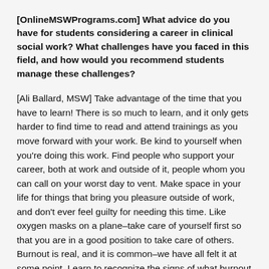[OnlineMSWPrograms.com] What advice do you have for students considering a career in clinical social work? What challenges have you faced in this field, and how would you recommend students manage these challenges?
[Ali Ballard, MSW] Take advantage of the time that you have to learn! There is so much to learn, and it only gets harder to find time to read and attend trainings as you move forward with your work. Be kind to yourself when you're doing this work. Find people who support your career, both at work and outside of it, people whom you can call on your worst day to vent. Make space in your life for things that bring you pleasure outside of work, and don't ever feel guilty for needing this time. Like oxygen masks on a plane–take care of yourself first so that you are in a good position to take care of others. Burnout is real, and it is common–we have all felt it at some point. Learn to recognize the signs of what burnout means for you and